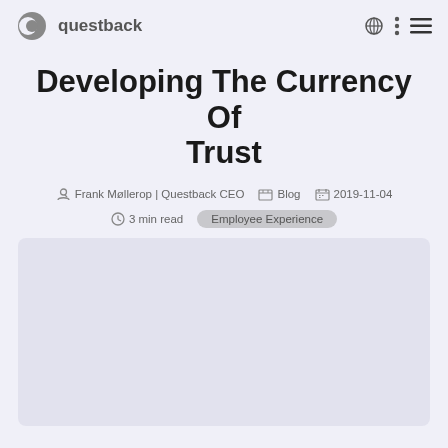questback
Developing The Currency Of Trust
Frank Møllerop | Questback CEO   Blog   2019-11-04
3 min read   Employee Experience
[Figure (photo): A light purple/grey rectangular image placeholder below the article metadata]